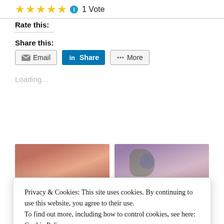★★★★★ ℹ 1 Vote
Rate this:
Share this:
[Figure (other): Email, LinkedIn Share, and More sharing buttons]
Loading...
[Figure (photo): Two partial food/nature photographs side by side, mostly obscured by cookie banner]
Privacy & Cookies: This site uses cookies. By continuing to use this website, you agree to their use.
To find out more, including how to control cookies, see here: Cookie Policy
Close and accept